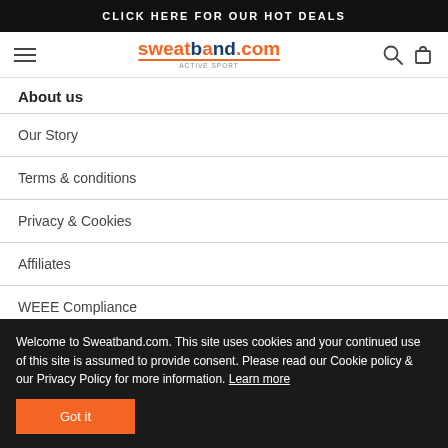CLICK HERE FOR OUR HOT DEALS
[Figure (logo): Sweatband.com active sport logo with hamburger menu, search and cart icons]
About us
Our Story
Terms & conditions
Privacy & Cookies
Affiliates
WEEE Compliance
Welcome to Sweatband.com. This site uses cookies and your continued use of this site is assumed to provide consent. Please read our Cookie policy & our Privacy Policy for more information. Learn more
Got it